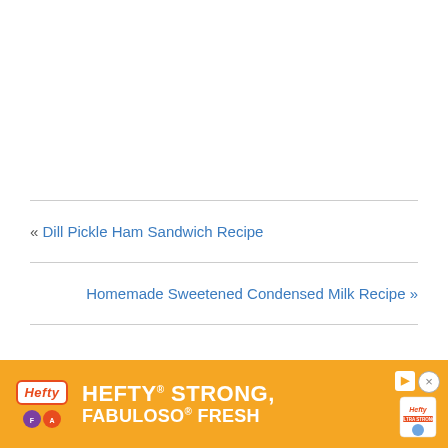« Dill Pickle Ham Sandwich Recipe
Homemade Sweetened Condensed Milk Recipe »
[Figure (other): Hefty advertisement banner: HEFTY STRONG, FABULOSO FRESH with orange background and product logos]